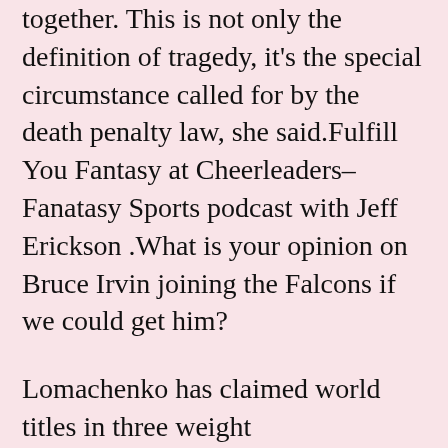together. This is not only the definition of tragedy, it's the special circumstance called for by the death penalty law, she said.Fulfill You Fantasy at Cheerleaders–Fanatasy Sports podcast with Jeff Erickson .What is your opinion on Bruce Irvin joining the Falcons if we could get him?
Lomachenko has claimed world titles in three weight https://www.jerseysforcheapshop.com divisions, defeating Jose Pedraza on a unanimous decision to add the WBO belt to his WBA strap in December.If you would like to search for all players born on a certain day, for example all players born on December 25th in any year, choose the month and day with the drop down boxes and then choose the 'Month and Day Search' option.It is the first fumble returned for a touchdown since LB Jamie Collins returned a fumble 14 yards for a touchdown at the New York Jets on Dec.